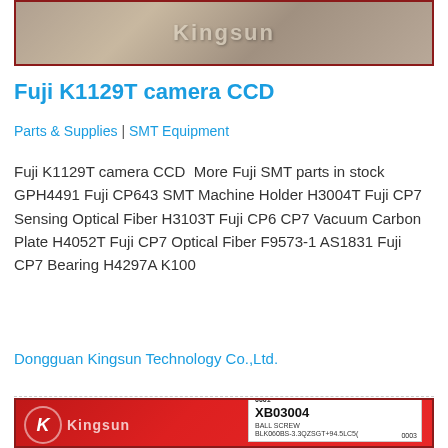[Figure (photo): Top partial product image with dark/brown tones, cropped at top of page]
Fuji K1129T camera CCD
Parts & Supplies | SMT Equipment
Fuji K1129T camera CCD  More Fuji SMT parts in stock GPH4491 Fuji CP643 SMT Machine Holder H3004T Fuji CP7 Sensing Optical Fiber H3103T Fuji CP6 CP7 Vacuum Carbon Plate H4052T Fuji CP7 Optical Fiber F9573-1 AS1831 Fuji CP7 Bearing H4297A K100
Dongguan Kingsun Technology Co.,Ltd.
[Figure (photo): Product photo showing red packaging with Kingsun logo and a white label reading XB03004 BALL SCREW BLK060BS-3.3QZSGT+94.5LC5(]